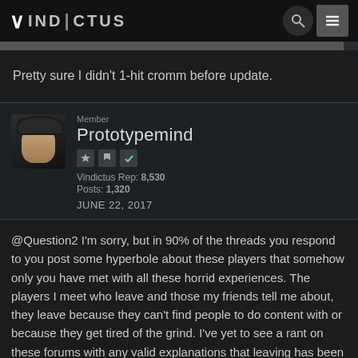VIND|CTUS
Pretty sure I didn't 1-hit cromm before update.
Member
Prototypemind
Vindictus Rep: 8,530
Posts: 1,320
JUNE 22, 2017
@Question2 I'm sorry, but in 90% of the threads you respond to you post some hyperbole about these players that somehow only you have met with all these horrid experiences. The players I meet who leave and those my friends tell me about, they leave because they can't find people to do content with or because they get tired of the grind. I've yet to see a rant on these forums with any valid explanations that leaving has been due to the game